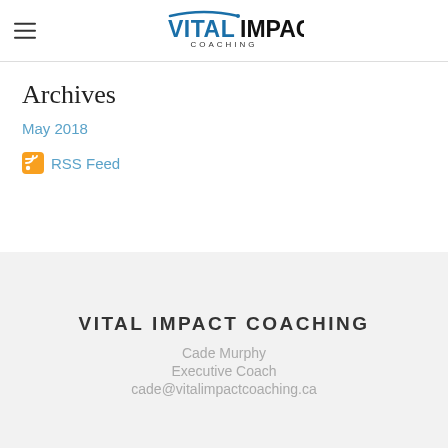VITAL IMPACT COACHING (logo)
Archives
May 2018
RSS Feed
VITAL IMPACT COACHING
Cade Murphy
Executive Coach
cade@vitalimpactcoaching.ca